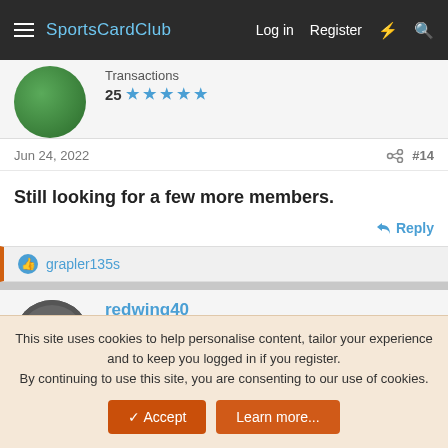SportsCardClub — Log in  Register
Transactions
25 ★★★★★
Jun 24, 2022   #14
Still looking for a few more members.
Reply
grapler135s
redwing40
Veteran
Transactions
51 ★★★★★
This site uses cookies to help personalise content, tailor your experience and to keep you logged in if you register.
By continuing to use this site, you are consenting to our use of cookies.
Accept  Learn more...